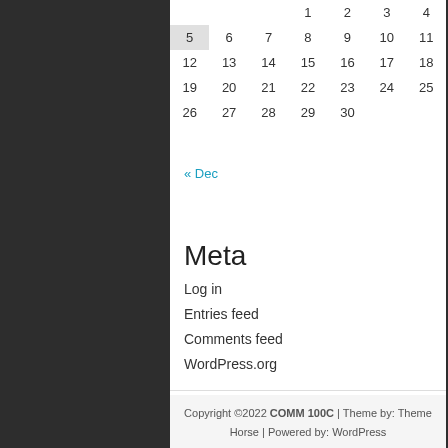|  |  |  | 1 | 2 | 3 | 4 |
| 5 | 6 | 7 | 8 | 9 | 10 | 11 |
| 12 | 13 | 14 | 15 | 16 | 17 | 18 |
| 19 | 20 | 21 | 22 | 23 | 24 | 25 |
| 26 | 27 | 28 | 29 | 30 |  |  |
« Dec
Meta
Log in
Entries feed
Comments feed
WordPress.org
Copyright ©2022 COMM 100C | Theme by: Theme Horse | Powered by: WordPress